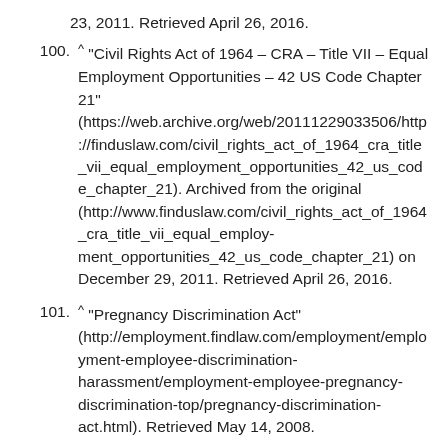23, 2011. Retrieved April 26, 2016.
100. ^ "Civil Rights Act of 1964 – CRA – Title VII – Equal Employment Opportunities – 42 US Code Chapter 21" (https://web.archive.org/web/20111229033506/http://finduslaw.com/civil_rights_act_of_1964_cra_title_vii_equal_employment_opportunities_42_us_code_chapter_21). Archived from the original (http://www.finduslaw.com/civil_rights_act_of_1964_cra_title_vii_equal_employment_opportunities_42_us_code_chapter_21) on December 29, 2011. Retrieved April 26, 2016.
101. ^ "Pregnancy Discrimination Act" (http://employment.findlaw.com/employment/employment-employee-discrimination-harassment/employment-employee-pregnancy-discrimination-top/pregnancy-discrimination-act.html). Retrieved May 14, 2008.